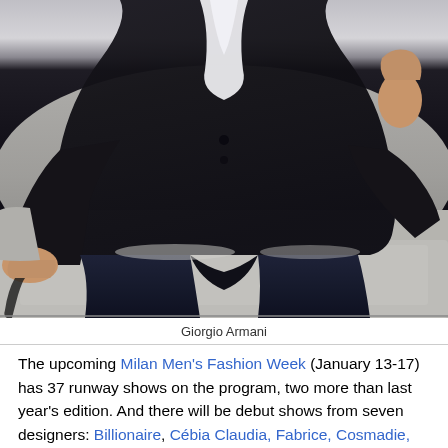[Figure (photo): Giorgio Armani seated on a light gray leather sofa/couch, wearing a dark black blazer over a dark top with dark navy jeans, white dress shirt collar visible, elbow resting on knee, photographed from slightly above.]
Giorgio Armani
The upcoming Milan Men's Fashion Week (January 13-17) has 37 runway shows on the program, two more than last year's edition. And there will be debut shows from seven designers: Billionaire, Críbin Claudia, Fabrice, Cosmadie, Modibe, 1003 Doler, Accel